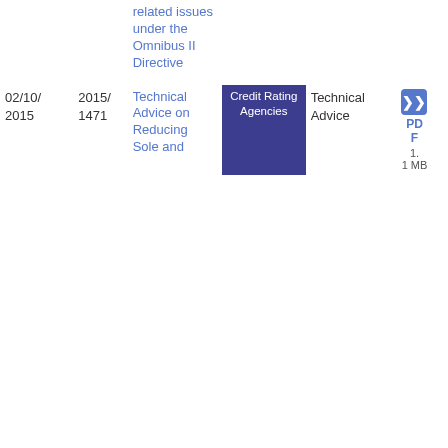| Date | Reference | Title | Tag | Type | Download |
| --- | --- | --- | --- | --- | --- |
|  |  | related issues under the Omnibus II Directive |  |  |  |
| 02/10/2015 | 2015/1471 | Technical Advice on Reducing Sole and | Credit Rating Agencies | Technical Advice | PDF 1.1 MB |